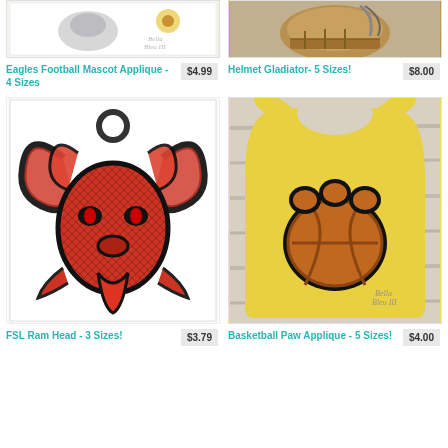[Figure (photo): Eagles Football Mascot Applique embroidery design on white fabric with sunflower, with Bella Bleu watermark]
Eagles Football Mascot Applique - 4 Sizes
$4.99
[Figure (photo): Helmet Gladiator embroidery design on tan/gold fabric]
Helmet Gladiator- 5 Sizes!
$8.00
[Figure (photo): FSL Ram Head embroidery design with red and black colors on white background]
FSL Ram Head - 3 Sizes!
$3.79
[Figure (photo): Basketball Paw Applique on yellow baby bib, with Bella Bleu watermark]
Basketball Paw Applique - 5 Sizes!
$4.00